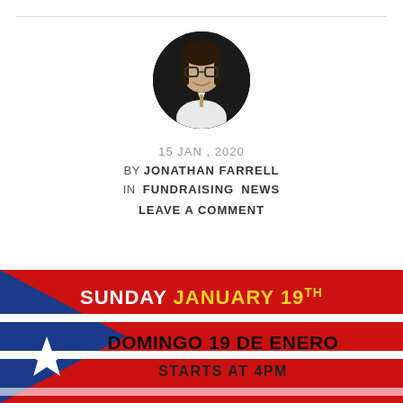[Figure (photo): Circular headshot photo of Jonathan Farrell, a young man with glasses, dark hair, and a suit, against a dark background]
15 JAN , 2020
BY JONATHAN FARRELL
IN FUNDRAISING NEWS
LEAVE A COMMENT
[Figure (infographic): Event banner with Puerto Rican flag background. Text reads: SUNDAY JANUARY 19TH / DOMINGO 19 DE ENERO / STARTS AT 4PM]